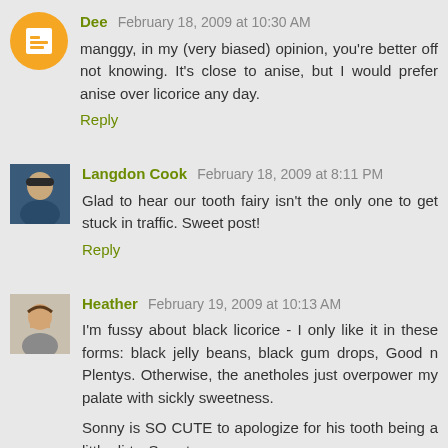Dee · February 18, 2009 at 10:30 AM
manggy, in my (very biased) opinion, you're better off not knowing. It's close to anise, but I would prefer anise over licorice any day.
Reply
Langdon Cook · February 18, 2009 at 8:11 PM
Glad to hear our tooth fairy isn't the only one to get stuck in traffic. Sweet post!
Reply
Heather · February 19, 2009 at 10:13 AM
I'm fussy about black licorice - I only like it in these forms: black jelly beans, black gum drops, Good n Plentys. Otherwise, the anetholes just overpower my palate with sickly sweetness.
Sonny is SO CUTE to apologize for his tooth being a little dirty. Sweet...